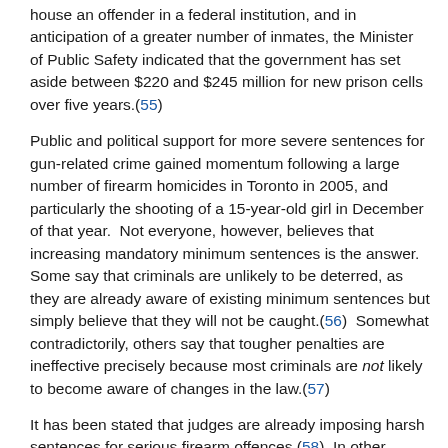house an offender in a federal institution, and in anticipation of a greater number of inmates, the Minister of Public Safety indicated that the government has set aside between $220 and $245 million for new prison cells over five years.(55)
Public and political support for more severe sentences for gun-related crime gained momentum following a large number of firearm homicides in Toronto in 2005, and particularly the shooting of a 15-year-old girl in December of that year.  Not everyone, however, believes that increasing mandatory minimum sentences is the answer.  Some say that criminals are unlikely to be deterred, as they are already aware of existing minimum sentences but simply believe that they will not be caught.(56)  Somewhat contradictorily, others say that tougher penalties are ineffective precisely because most criminals are not likely to become aware of changes in the law.(57)
It has been stated that judges are already imposing harsh sentences for serious firearm offences.(58)  In other words, Bill C-10 might hurt a system that already works well in practice.  There are concerns, for instance, that mandatory sentences will result in more not guilty pleas, clogging the court system and increasing trial costs.(59)  As another